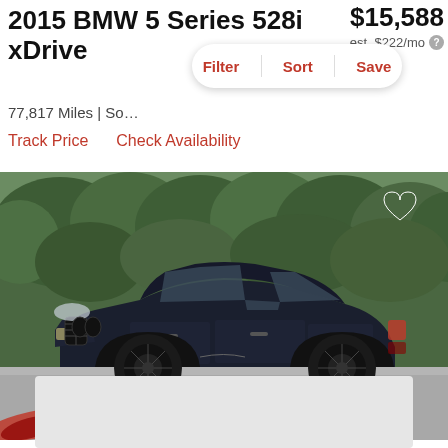2015 BMW 5 Series 528i xDrive
$15,588
est. $222/mo
Filter  Sort  Save
77,817 Miles | So...
Track Price    Check Availability
[Figure (photo): Side view of a dark blue 2015 BMW 5 Series 528i xDrive with black wheels parked in front of green hedges. A heart/save icon appears in the upper right of the image. The Power auto dealer logo appears in the lower left of the image.]
[Figure (other): Light gray placeholder/ad block at the bottom of the page]